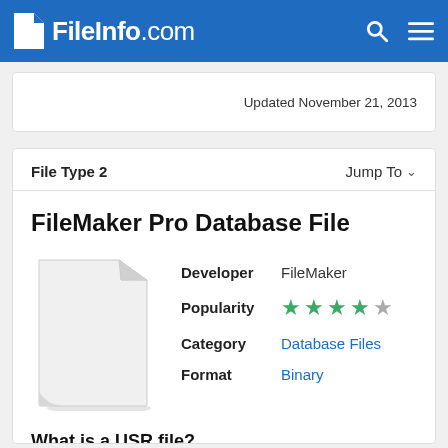FileInfo.com
Updated November 21, 2013
File Type 2
FileMaker Pro Database File
| Field | Value |
| --- | --- |
| Developer | FileMaker |
| Popularity | 4/5 stars |
| Category | Database Files |
| Format | Binary |
What is a USR file?